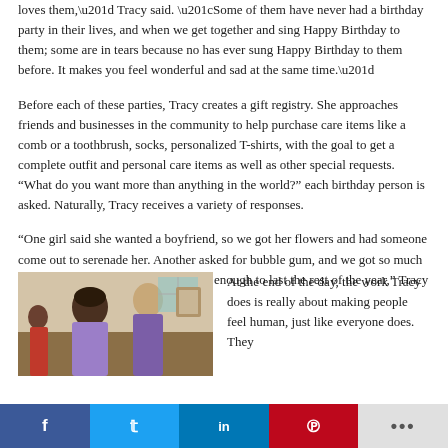loves them,” Tracy said. “Some of them have never had a birthday party in their lives, and when we get together and sing Happy Birthday to them; some are in tears because no has ever sung Happy Birthday to them before. It makes you feel wonderful and sad at the same time.”
Before each of these parties, Tracy creates a gift registry. She approaches friends and businesses in the community to help purchase care items like a comb or a toothbrush, socks, personalized T-shirts, with the goal to get a complete outfit and personal care items as well as other special requests. “What do you want more than anything in the world?” each birthday person is asked. Naturally, Tracy receives a variety of responses.
“One girl said she wanted a boyfriend, so we got her flowers and had someone come out to serenade her. Another asked for bubble gum, and we got so much bubble gum that he probably still has enough to last the rest of the year,” Tracy said.
[Figure (photo): Photo of two women, one with dark curly hair and one with light hair, at what appears to be an indoor gathering or party setting.]
At the end of the day, the work Tracy does is really about making people feel human, just like everyone does. They...